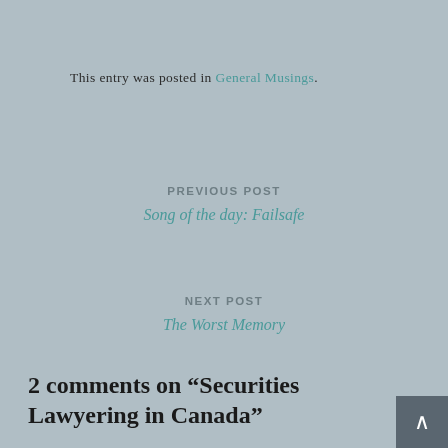This entry was posted in General Musings.
PREVIOUS POST
Song of the day: Failsafe
NEXT POST
The Worst Memory
2 comments on “Securities Lawyering in Canada”